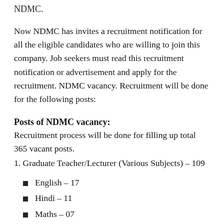NDMC.
Now NDMC has invites a recruitment notification for all the eligible candidates who are willing to join this company. Job seekers must read this recruitment notification or advertisement and apply for the recruitment. NDMC vacancy. Recruitment will be done for the following posts:
Posts of NDMC vacancy:
Recruitment process will be done for filling up total 365 vacant posts.
1. Graduate Teacher/Lecturer (Various Subjects) – 109
English – 17
Hindi – 11
Maths – 07
History – 12